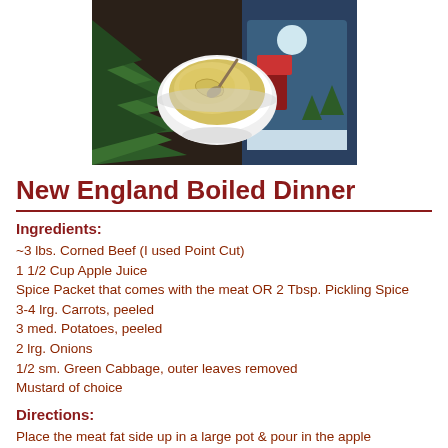[Figure (photo): Photo of a white bowl filled with yellow/cream colored mustard sauce with a spoon, surrounded by pine branches on the left and a winter-themed decorative item on the right]
New England Boiled Dinner
Ingredients:
~3 lbs. Corned Beef (I used Point Cut)
1 1/2 Cup Apple Juice
Spice Packet that comes with the meat OR 2 Tbsp. Pickling Spice
3-4 lrg. Carrots, peeled
3 med. Potatoes, peeled
2 lrg. Onions
1/2 sm. Green Cabbage, outer leaves removed
Mustard of choice
Directions:
Place the meat fat side up in a large pot & pour in the apple